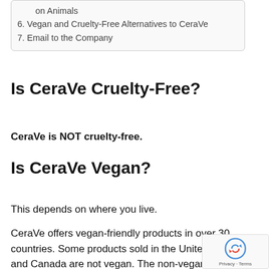on Animals
6. Vegan and Cruelty-Free Alternatives to CeraVe
7. Email to the Company
Is CeraVe Cruelty-Free?
CeraVe is NOT cruelty-free.
Is CeraVe Vegan?
This depends on where you live.
CeraVe offers vegan-friendly products in over 30 countries. Some products sold in the United S and Canada are not vegan. The non-vegan ingredient comes from sheep's wool.